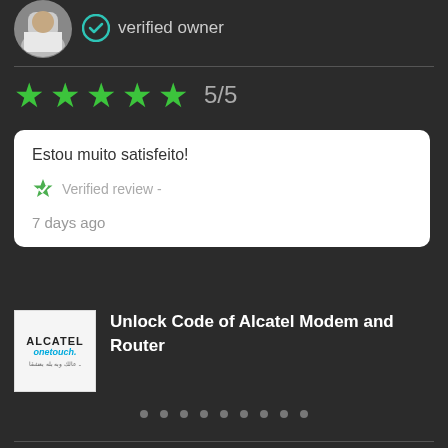[Figure (photo): Circular avatar photo of a person wearing a white shirt, partially visible at top]
verified owner
★★★★★ 5/5
Estou muito satisfeito!
Verified review - 7 days ago
[Figure (logo): Alcatel onetouch logo on white background]
Unlock Code of Alcatel Modem and Router